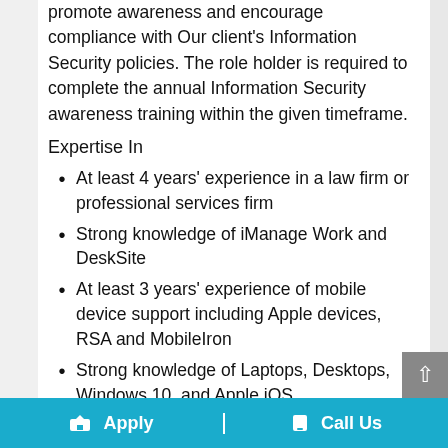promote awareness and encourage compliance with Our client's Information Security policies. The role holder is required to complete the annual Information Security awareness training within the given timeframe.
Expertise In
At least 4 years' experience in a law firm or professional services firm
Strong knowledge of iManage Work and DeskSite
At least 3 years' experience of mobile device support including Apple devices, RSA and MobileIron
Strong knowledge of Laptops, Desktops, Windows 10, and Apple iOS
Experience supporting Microsoft...
Apply  |  Call Us